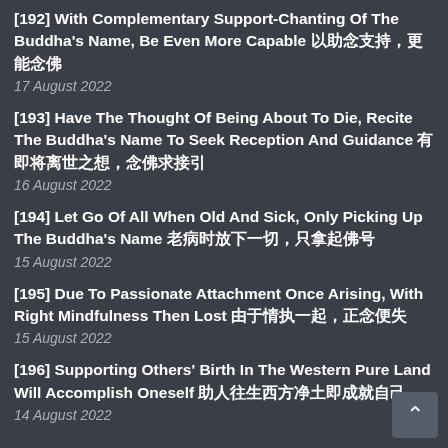[192] With Complementary Support-Chanting Of The Buddha's Name, Be Even More Capable 以助念支持，更能念佛
17 August 2022
[193] Have The Thought Of Being About To Die, Recite The Buddha's Name To Seek Reception And Guidance 有即将离世之想，念佛求接引
16 August 2022
[194] Let Go Of All When Old And Sick, Only Picking Up The Buddha's Name 老病时放下一切，只拿起佛号
15 August 2022
[195] Due To Passionate Attachment Once Arising, With Right Mindfulness Then Lost 由于情执一起，正念便失
15 August 2022
[196] Supporting Others' Birth In The Western Pure Land Will Accomplish Oneself 助人往生西方净土即成就自己
14 August 2022